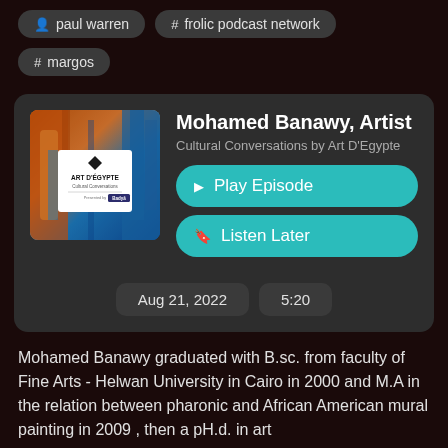paul warren
# frolic podcast network
# margos
Mohamed Banawy, Artist
Cultural Conversations by Art D'Egypte
Play Episode
Listen Later
Aug 21, 2022
5:20
Mohamed Banawy graduated with B.sc. from faculty of Fine Arts - Helwan University in Cairo in 2000 and M.A in the relation between pharonic and African American mural painting in 2009 , then a pH.d. in art
[Figure (illustration): Art D'Egypte Cultural Conversations podcast thumbnail with abstract colorful painting background and white logo overlay showing a diamond shape, 'ART D'EGYPTE', 'Cultural Conversations', and 'Presented by Badya' text]